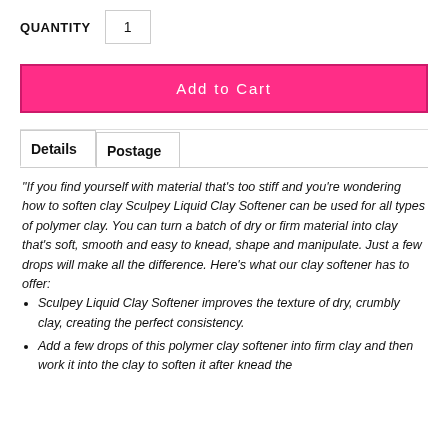QUANTITY  1
Add to Cart
Details  Postage
“If you find yourself with material that’s too stiff and you’re wondering how to soften clay Sculpey Liquid Clay Softener can be used for all types of polymer clay. You can turn a batch of dry or firm material into clay that’s soft, smooth and easy to knead, shape and manipulate. Just a few drops will make all the difference. Here’s what our clay softener has to offer:
Sculpey Liquid Clay Softener improves the texture of dry, crumbly clay, creating the perfect consistency.
Add a few drops of this polymer clay softener into firm clay and then work it into the clay to soften it after knead the